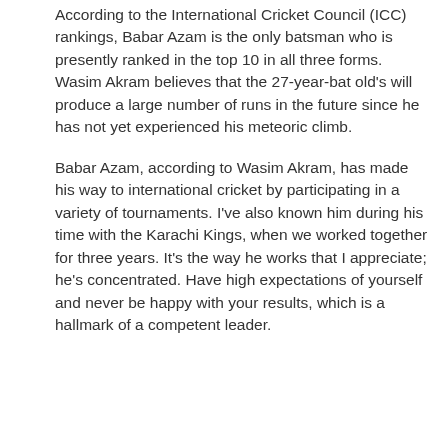According to the International Cricket Council (ICC) rankings, Babar Azam is the only batsman who is presently ranked in the top 10 in all three forms. Wasim Akram believes that the 27-year-bat old's will produce a large number of runs in the future since he has not yet experienced his meteoric climb.
Babar Azam, according to Wasim Akram, has made his way to international cricket by participating in a variety of tournaments. I've also known him during his time with the Karachi Kings, when we worked together for three years. It's the way he works that I appreciate; he's concentrated. Have high expectations of yourself and never be happy with your results, which is a hallmark of a competent leader.